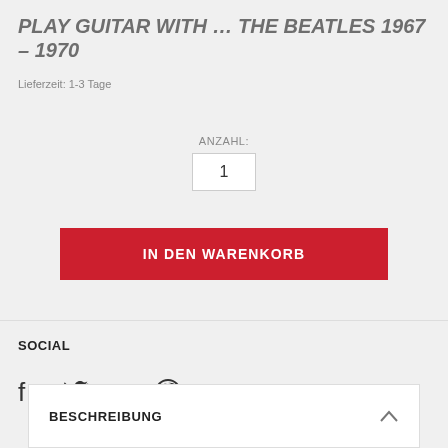PLAY GUITAR WITH ... THE BEATLES 1967 – 1970
Lieferzeit: 1-3 Tage
ANZAHL: 1
IN DEN WARENKORB
SOCIAL
[Figure (infographic): Social share icons: Facebook, Twitter, Email, Pinterest]
BESCHREIBUNG